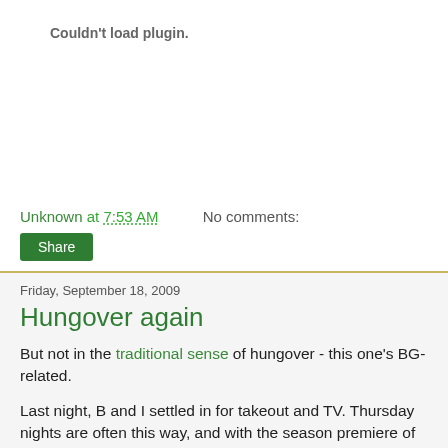[Figure (other): Plugin placeholder area showing 'Couldn't load plugin.' message in gray text on white background]
Unknown at 7:53 AM    No comments:
Share
Friday, September 18, 2009
Hungover again
But not in the traditional sense of hungover - this one's BG-related.
Last night, B and I settled in for takeout and TV. Thursday nights are often this way, and with the season premiere of